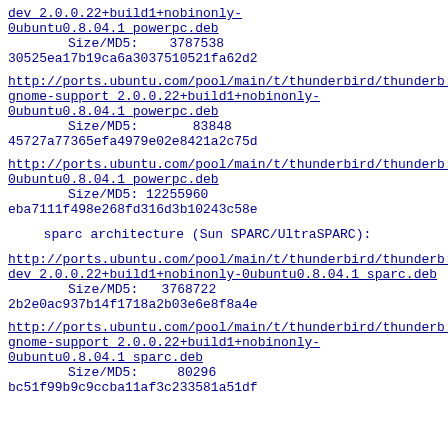dev 2.0.0.22+build1+nobinonly-0ubuntu0.8.04.1 powerpc.deb
        Size/MD5:    3787538
30525ea17b19ca6a3037510521fa62d2
http://ports.ubuntu.com/pool/main/t/thunderbird/thunderb...
gnome-support 2.0.0.22+build1+nobinonly-0ubuntu0.8.04.1 powerpc.deb
        Size/MD5:       83848
45727a77365efa4979e02e8421a2c75d
http://ports.ubuntu.com/pool/main/t/thunderbird/thunderb...
0ubuntu0.8.04.1 powerpc.deb
        Size/MD5: 12255960
eba7111f498e268fd316d3b10243c58e
sparc architecture (Sun SPARC/UltraSPARC):
http://ports.ubuntu.com/pool/main/t/thunderbird/thunderb...
dev 2.0.0.22+build1+nobinonly-0ubuntu0.8.04.1 sparc.deb
        Size/MD5:   3768722
2b2e0ac937b14f1718a2b03e6e8f8a4e
http://ports.ubuntu.com/pool/main/t/thunderbird/thunderb...
gnome-support 2.0.0.22+build1+nobinonly-0ubuntu0.8.04.1 sparc.deb
        Size/MD5:      80296
bc51f99b9c9ccba11af3c233581a51df